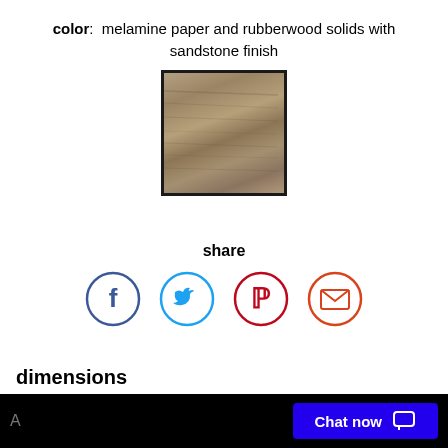color: melamine paper and rubberwood solids with sandstone finish
[Figure (photo): A square color swatch showing sandstone wood finish texture — warm grayish-tan/brown wood grain texture]
share
[Figure (infographic): Social sharing icons: Facebook (dark blue circle with f), Twitter (light blue circle with bird), Pinterest (red circle with P), Email (red-orange circle with envelope)]
dimensions
dim: Width (inches): 41" W
dim: Depth or Length (inches): 1" D
Chat now